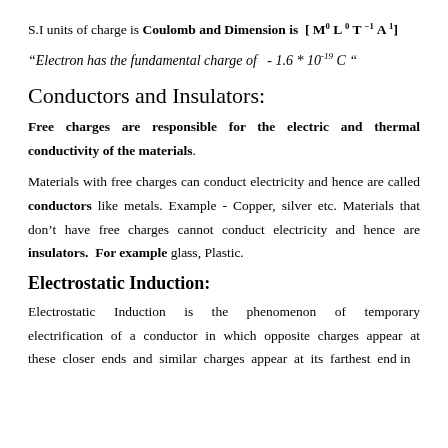S.I units of charge is Coulomb and Dimension is [ M⁰ L⁰ T⁻¹ A¹]
"Electron has the fundamental charge of  - 1.6 * 10⁻¹⁹ C "
Conductors and Insulators:
Free charges are responsible for the electric and thermal conductivity of the materials.
Materials with free charges can conduct electricity and hence are called conductors like metals. Example - Copper, silver etc. Materials that don't have free charges cannot conduct electricity and hence are insulators.  For example glass, Plastic.
Electrostatic Induction:
Electrostatic Induction is the phenomenon of temporary electrification of a conductor in which opposite charges appear at these closer ends and similar charges appear at its farthest end in